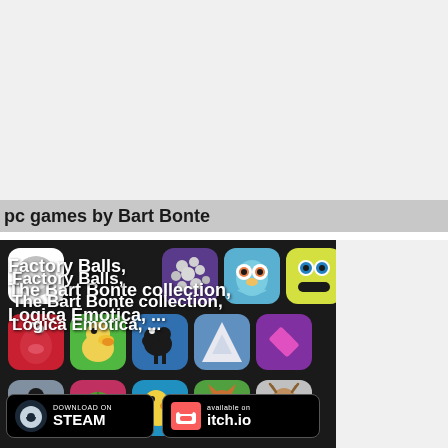pc games by Bart Bonte
[Figure (screenshot): Collection of mobile/PC game icons on dark background for Bart Bonte games including Factory Balls, The Bart Bonte collection, Logica Emotica, with Steam and itch.io download buttons]
Factory Balls, The Bart Bonte collection, Logica Emotica, ...